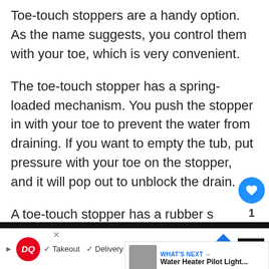Toe-touch stoppers are a handy option. As the name suggests, you control them with your toe, which is very convenient.
The toe-touch stopper has a spring-loaded mechanism. You push the stopper in with your toe to prevent the water from draining. If you want to empty the tub, put pressure with your toe on the stopper, and it will pop out to unblock the drain.
A toe-touch stopper has a rubber se[al] which prevents the water from leaking. The [blue block]
[Figure (screenshot): Website UI overlay with heart icon (blue circle), share icon, and WHAT'S NEXT panel showing Water Heater Pilot Light article thumbnail]
[Figure (screenshot): Advertisement bar at bottom: Dairy Queen logo with Takeout and Delivery options, navigation arrow icon, dark box with sound/streaming icon]